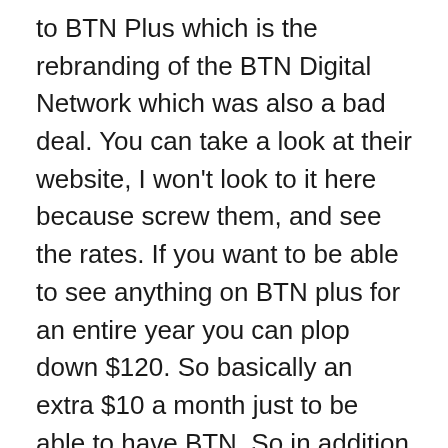to BTN Plus which is the rebranding of the BTN Digital Network which was also a bad deal. You can take a look at their website, I won't look to it here because screw them, and see the rates. If you want to be able to see anything on BTN plus for an entire year you can plop down $120. So basically an extra $10 a month just to be able to have BTN. So in addition to the $5 a month I already pay I can add $10 if I want everything. In essence I'd be paying $15 a month for just one channel. Seems absurd right? Well let's take it down a notch and say I just want the Purdue stuff for one month. That makes the most sense because this is really the only time when major sporting events are going to fall onto this "channel". That'll cost you $10 for one month. It's of course auto-renewed so be careful if that's the route you opt to take. So those are your options but honestly why are those my options?